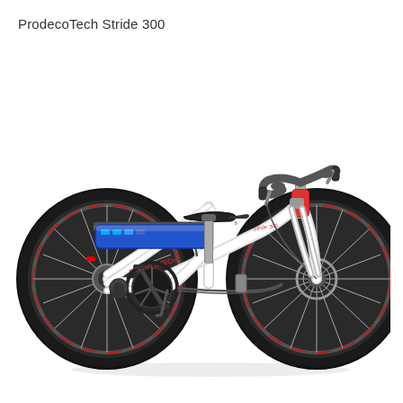ProdecoTech Stride 300
[Figure (photo): Side view of a ProdecoTech Stride 300 electric bicycle. The bike has a white step-through frame with red branding, a blue rectangular battery pack mounted on a rear rack, a black saddle, black handlebars with brake levers and shifters, large black-rimmed wheels with silver spokes and red accents, a rear hub motor on the left wheel, disc brakes on the front wheel, and a black chainset with multiple sprockets.]